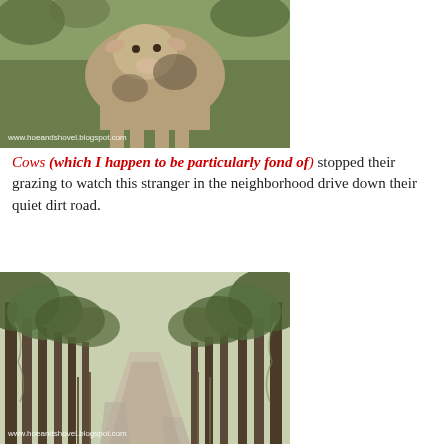[Figure (photo): Close-up photo of a cow in a grassy area, with watermark www.hoeandshovel.blogspot.com]
Cows (which I happen to be particularly fond of) stopped their grazing to watch this stranger in the neighborhood drive down their quiet dirt road.
[Figure (photo): Photo of a tree-lined dirt road with Spanish moss, watermark www.hoeandshovel.blogspot.com]
Another mile off the main highway...
[Figure (photo): Close-up photo of a green and gold decorative sign, watermark www.hoeandshovel.blogspot.com]